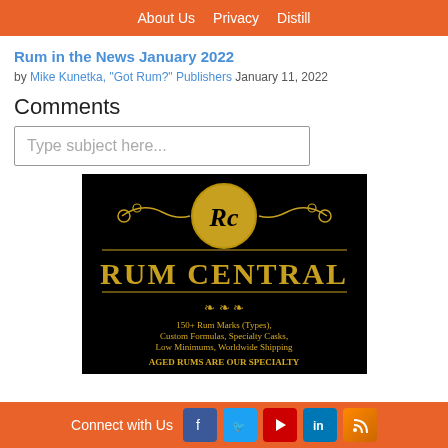About Us  Privacy  Distill
Rum in the News January 2022
by Mike Kunetka, "Got Rum?" Publishers January 11, 2022
Comments
Type subject here...
[Figure (logo): Rum Central advertisement: black background with gold ornate logo featuring 'RC' monogram in a circle, 'RUM CENTRAL' in large gold letters, decorative scrollwork, and text '150+ Rum Marks (Types), Custom Formulas, Specialty Casks, Low Minimums, Worldwide Shipping' and 'AGED RUMS ARE OUR SPECIALTY']
Connect with Us [Facebook] [Twitter] [YouTube] [LinkedIn] [RSS]